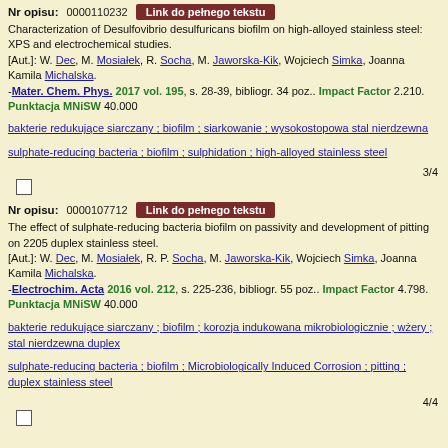Nr opisu: 0000110232 Link do pełnego tekstu
Characterization of Desulfovibrio desulfuricans biofilm on high-alloyed stainless steel: XPS and electrochemical studies. [Aut.]: W. Dec, M. Mosiałek, R. Socha, M. Jaworska-Kik, Wojciech Simka, Joanna Kamila Michalska. -Mater. Chem. Phys. 2017 vol. 195, s. 28-39, bibliogr. 34 poz.. Impact Factor 2.210. Punktacja MNiSW 35.000
bakterie redukujące siarczany ; biofilm ; siarkowanie ; wysokostopowa stal nierdzewna
sulphate-reducing bacteria ; biofilm ; sulphidation ; high-alloyed stainless steel
3/4
Nr opisu: 0000107712 Link do pełnego tekstu
The effect of sulphate-reducing bacteria biofilm on passivity and development of pitting on 2205 duplex stainless steel. [Aut.]: W. Dec, M. Mosiałek, R. P. Socha, M. Jaworska-Kik, Wojciech Simka, Joanna Kamila Michalska. -Electrochim. Acta 2016 vol. 212, s. 225-236, bibliogr. 55 poz.. Impact Factor 4.798. Punktacja MNiSW 40.000
bakterie redukujące siarczany ; biofilm ; korozja indukowana mikrobiologicznie ; wżery ; stal nierdzewna duplex
sulphate-reducing bacteria ; biofilm ; Microbiologically Induced Corrosion ; pitting ; duplex stainless steel
4/4